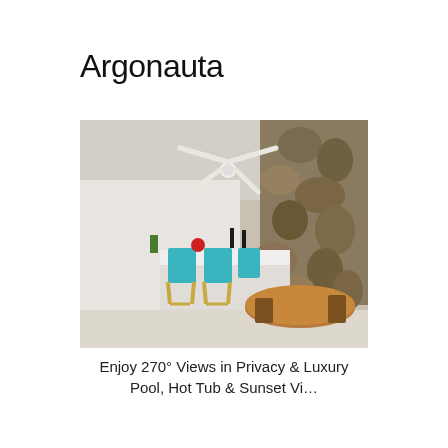Argonauta
[Figure (photo): Outdoor covered patio/terrace with white ceiling fan, stone accent wall on the right, teal director's chairs at a bar counter on the left, and a round wooden dining table with chairs on the right foreground.]
Enjoy 270° Views in Privacy & Luxury
Pool, Hot Tub & Sunset Vi…